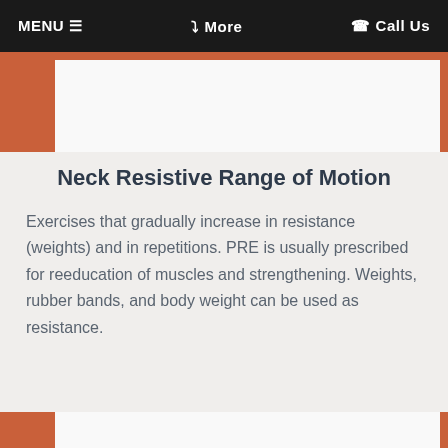MENU ≡   ❯ More   ✆ Call Us
[Figure (photo): Partial image frame with orange/red border and white interior, top portion visible]
Neck Resistive Range of Motion
Exercises that gradually increase in resistance (weights) and in repetitions. PRE is usually prescribed for reeducation of muscles and strengthening. Weights, rubber bands, and body weight can be used as resistance.
[Figure (photo): Partial image frame with orange/red border and white interior, bottom portion visible]